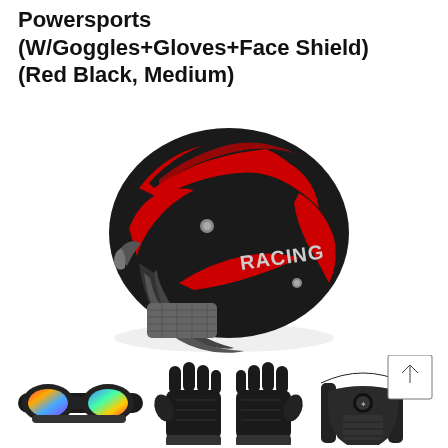Powersports (W/Goggles+Gloves+Face Shield) (Red Black, Medium)
[Figure (photo): A red and black motocross/powersports racing helmet with 'RACING' text on the side, shown in profile view against a white background.]
[Figure (photo): Three accessories shown at the bottom: colorful-lens goggles on the left, black riding gloves in the center, and a black face shield/mask on the right. A scroll-up button is overlaid on the top-right corner of the accessories area.]